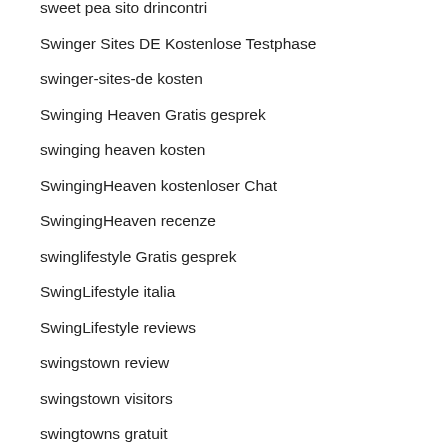sweet pea sito drincontri
Swinger Sites DE Kostenlose Testphase
swinger-sites-de kosten
Swinging Heaven Gratis gesprek
swinging heaven kosten
SwingingHeaven kostenloser Chat
SwingingHeaven recenze
swinglifestyle Gratis gesprek
SwingLifestyle italia
SwingLifestyle reviews
swingstown review
swingstown visitors
swingtowns gratuit
swingtowns seiten
swipe review
swiss-chat-rooms review
SWOOP review
SWOOP visitors